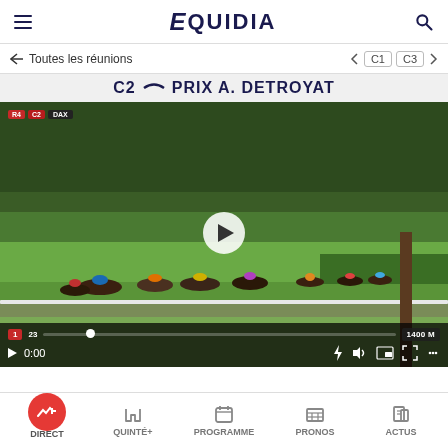[Figure (screenshot): Equidia mobile app screenshot showing the header with hamburger menu, Equidia logo, and search icon]
← Toutes les réunions
< C1   C3 >
C2 ~ PRIX A. DETROYAT
[Figure (photo): Horse race video thumbnail showing multiple jockeys racing on a grass track with trees in background. Video player controls visible at bottom showing 0:00 timestamp and 1400M distance badge. Play button overlaid in center. Badge shows R4 C2 DAX in top left corner.]
DIRECT
QUINTÉ+
PROGRAMME
PRONOS
ACTUS